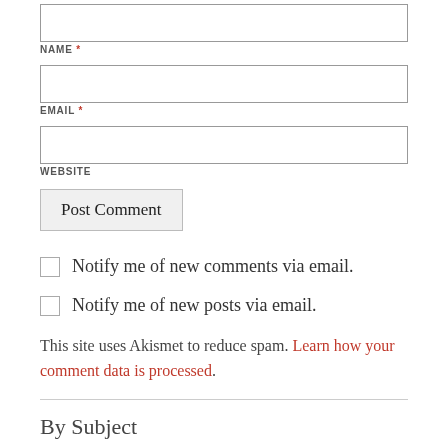NAME *
EMAIL *
WEBSITE
Post Comment
Notify me of new comments via email.
Notify me of new posts via email.
This site uses Akismet to reduce spam. Learn how your comment data is processed.
By Subject